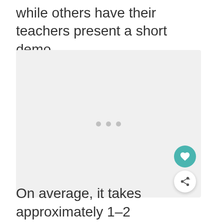while others have their teachers present a short demo.
[Figure (photo): A large light gray placeholder image box with three gray dots centered in the middle, indicating a loading or placeholder image. Two circular UI buttons appear overlaid at the bottom-right: a teal heart/favorite button and a white share button with a share icon.]
On average, it takes approximately 1–2